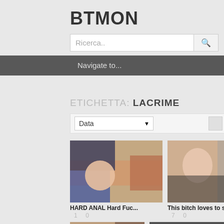BTMON
Ricerca..
Navigate to...
ETICHETTA: LACRIME
Data
[Figure (photo): Thumbnail image of adult content video 1]
HARD ANAL Hard Fuc...
1   0
[Figure (photo): Thumbnail image of adult content video 2]
This bitch loves to su...
7   0
[Figure (photo): Thumbnail image of adult content video 3 (partial)]
[Figure (photo): Thumbnail image of adult content video 4 (partial)]